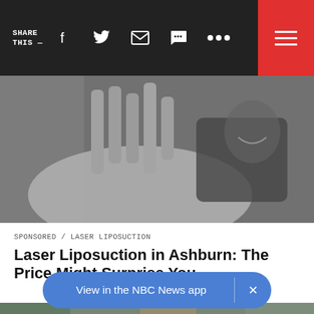SHARE THIS —
[Figure (photo): Person smiling while lying on a medical treatment bed with laser liposuction equipment arms positioned over them, in a clinical setting. Grayscale/muted tones.]
SPONSORED / LASER LIPOSUCTION
Laser Liposuction in Ashburn: The Price Might Surprise You
[Figure (photo): Partial view of a foggy or hazy outdoor scene with trees and a building, partially obscured. Muted green and gray tones.]
View in the NBC News app